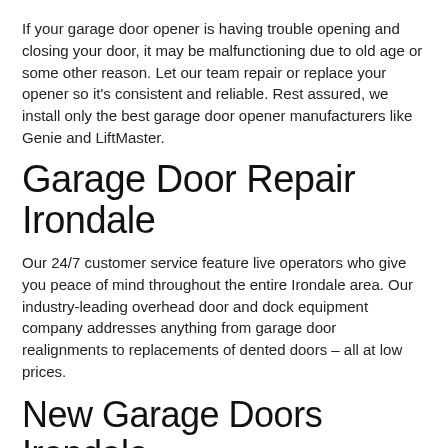If your garage door opener is having trouble opening and closing your door, it may be malfunctioning due to old age or some other reason. Let our team repair or replace your opener so it's consistent and reliable. Rest assured, we install only the best garage door opener manufacturers like Genie and LiftMaster.
Garage Door Repair Irondale
Our 24/7 customer service feature live operators who give you peace of mind throughout the entire Irondale area. Our industry-leading overhead door and dock equipment company addresses anything from garage door realignments to replacements of dented doors – all at low prices.
New Garage Doors Irondale